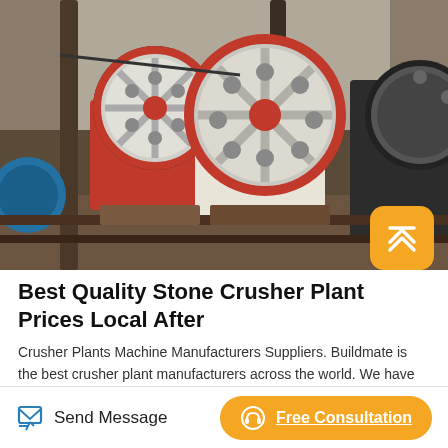[Figure (photo): Industrial jaw crusher plant machines with large red-rimmed flywheels and orange body components on a metal platform, industrial setting]
Best Quality Stone Crusher Plant Prices Local After
Crusher Plants Machine Manufacturers Suppliers. Buildmate is the best crusher plant manufacturers across the world. We have earned our world-class reputation for our high quality supplying of crusher plant machines. We are known for excellence in manufacturing, and
Send Message | Free Consultation